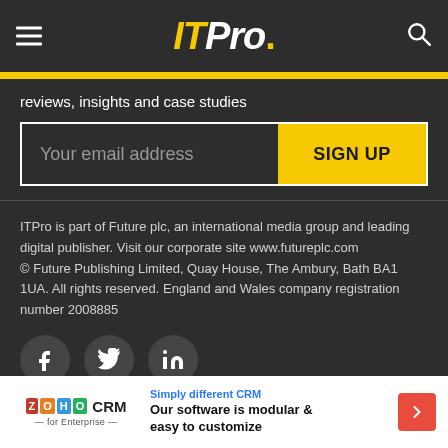ITPro.
reviews, insights and case studies
Your email address
SIGN UP
ITPro is part of Future plc, an international media group and leading digital publisher. Visit our corporate site www.futureplc.com
© Future Publishing Limited, Quay House, The Ambury, Bath BA1 1UA. All rights reserved. England and Wales company registration number 2008885
[Figure (infographic): Social media icons: Facebook, Twitter, LinkedIn]
[Figure (infographic): Zoho CRM advertisement banner: Simply different CRM - Our software is modular & easy to customize]